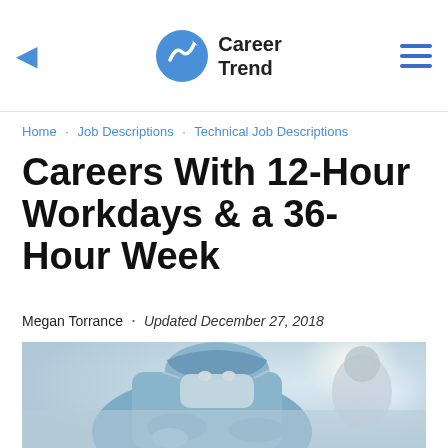Career Trend
Home · Job Descriptions · Technical Job Descriptions
Careers With 12-Hour Workdays & a 36-Hour Week
Megan Torrance · Updated December 27, 2018
[Figure (photo): A surgeon in blue scrubs, surgical cap and face mask leaning over a patient in an operating room, with bright overhead surgical lights visible in the background.]